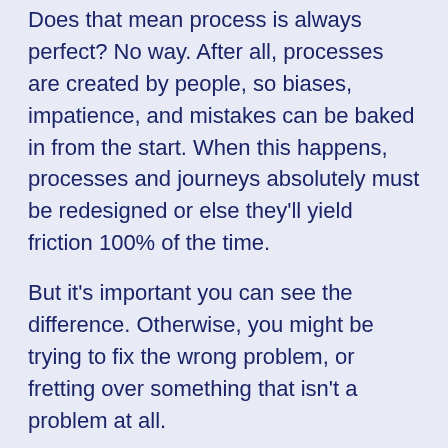Does that mean process is always perfect? No way. After all, processes are created by people, so biases, impatience, and mistakes can be baked in from the start. When this happens, processes and journeys absolutely must be redesigned or else they'll yield friction 100% of the time.
But it's important you can see the difference. Otherwise, you might be trying to fix the wrong problem, or fretting over something that isn't a problem at all.
For example, it takes a lot more time to fly from San Diego to New York than it does from San Diego to San Francisco. Does that mean the journey to New York is flawed and needs to be fixed or eliminated?